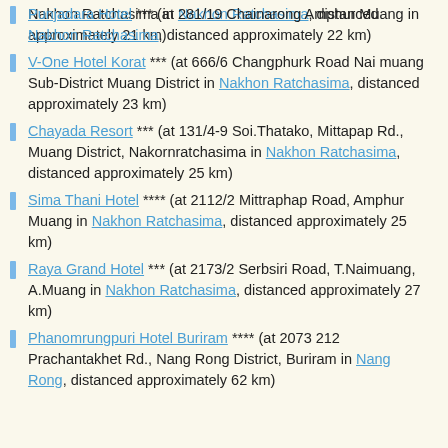Nakhon Ratchasima in Nakhon Ratchasima, distanced approximately 21 km)
Punjadara Hotel *** (at 281/19 Chainarong Amphur Muang in Nakhon Ratchasima, distanced approximately 22 km)
V-One Hotel Korat *** (at 666/6 Changphurk Road Nai muang Sub-District Muang District in Nakhon Ratchasima, distanced approximately 23 km)
Chayada Resort *** (at 131/4-9 Soi.Thatako, Mittapap Rd., Muang District, Nakornratchasima in Nakhon Ratchasima, distanced approximately 25 km)
Sima Thani Hotel **** (at 2112/2 Mittraphap Road, Amphur Muang in Nakhon Ratchasima, distanced approximately 25 km)
Raya Grand Hotel *** (at 2173/2 Serbsiri Road, T.Naimuang, A.Muang in Nakhon Ratchasima, distanced approximately 27 km)
Phanomrungpuri Hotel Buriram **** (at 2073 212 Prachantakhet Rd., Nang Rong District, Buriram in Nang Rong, distanced approximately 62 km)